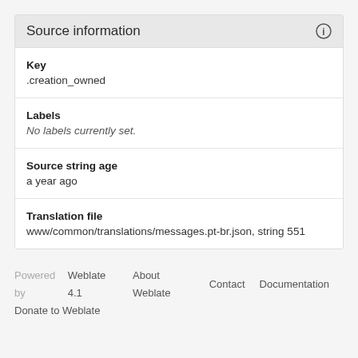Source information
Key
.creation_owned
Labels
No labels currently set.
Source string age
a year ago
Translation file
www/common/translations/messages.pt-br.json, string 551
Powered by Weblate 4.1   About Weblate   Contact   Documentation
Donate to Weblate